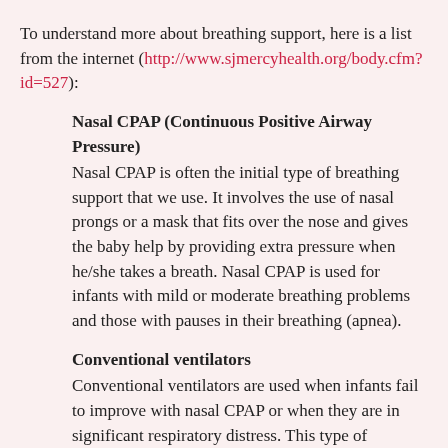To understand more about breathing support, here is a list from the internet (http://www.sjmercyhealth.org/body.cfm?id=527):
Nasal CPAP (Continuous Positive Airway Pressure) — Nasal CPAP is often the initial type of breathing support that we use. It involves the use of nasal prongs or a mask that fits over the nose and gives the baby help by providing extra pressure when he/she takes a breath. Nasal CPAP is used for infants with mild or moderate breathing problems and those with pauses in their breathing (apnea).
Conventional ventilators — Conventional ventilators are used when infants fail to improve with nasal CPAP or when they are in significant respiratory distress. This type of respiratory support requires that an infant have a tube (endotracheal tube) placed in their windpipe. The tube is then connected to the ventilator. Conventional ventilators provide pressure directly to the lungs and can either assist a baby with their own breaths or provide breaths to babies that are not breathing on